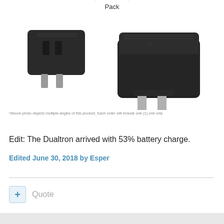[Figure (photo): Two black travel plug adapters shown from multiple angles on a white background. A partial circular badge at the top shows the word 'Pack'. The adapters have flat pins on the bottom and female sockets on the top.]
*Above photo depicts multiple angles of this product. Each order will include one (1) unit only
Edit: The Dualtron arrived with 53% battery charge.
Edited June 30, 2018 by Esper
+ Quote